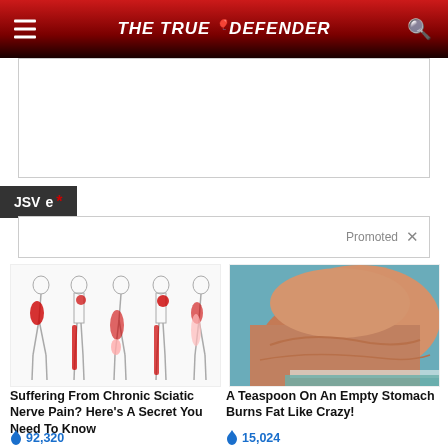THE TRUE DEFENDER
[Figure (screenshot): Advertisement placeholder box]
JSV e *
Promoted X
[Figure (illustration): Medical illustration showing sciatic nerve pain in legs from different angles, with red highlighted pain areas]
Suffering From Chronic Sciatic Nerve Pain? Here's A Secret You Need To Know
92,320
[Figure (photo): Photo showing person's torso/back with stomach fat from side angle]
A Teaspoon On An Empty Stomach Burns Fat Like Crazy!
15,024